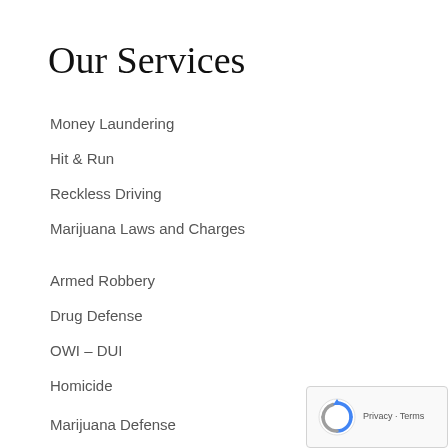Our Services
Money Laundering
Hit & Run
Reckless Driving
Marijuana Laws and Charges
Armed Robbery
Drug Defense
OWI – DUI
Homicide
Marijuana Defense
Medicare Fraud
Probation Violation